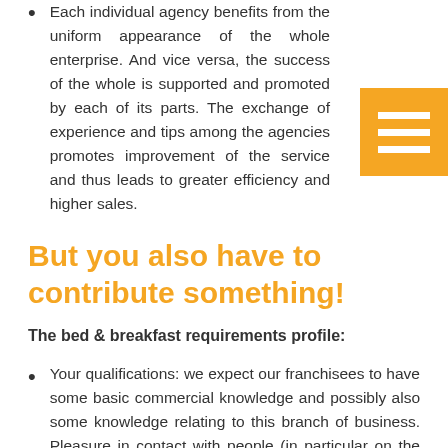Each individual agency benefits from the uniform appearance of the whole enterprise. And vice versa, the success of the whole is supported and promoted by each of its parts. The exchange of experience and tips among the agencies promotes improvement of the service and thus leads to greater efficiency and higher sales.
But you also have to contribute something!
The bed & breakfast requirements profile:
Your qualifications: we expect our franchisees to have some basic commercial knowledge and possibly also some knowledge relating to this branch of business. Pleasure in contact with people (in particular on the telephone), a precise and fast way of working, the ability to work on their own, knowledge of English.